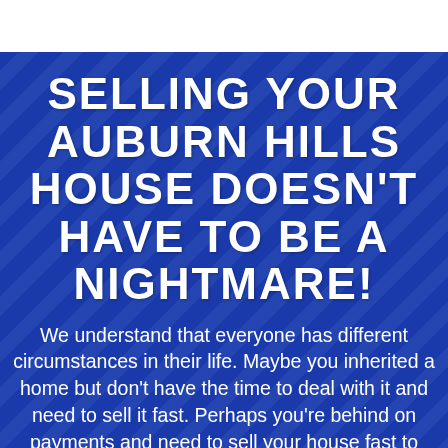SELLING YOUR AUBURN HILLS HOUSE DOESN'T HAVE TO BE A NIGHTMARE!
We understand that everyone has different circumstances in their life. Maybe you inherited a home but don't have the time to deal with it and need to sell it fast. Perhaps you're behind on payments and need to sell your house fast to avoid foreclosure to save your credit. Home Buyer For Cash is the leading, local company when it comes to buying houses from owners who need to sell today. Not everyone can wait months